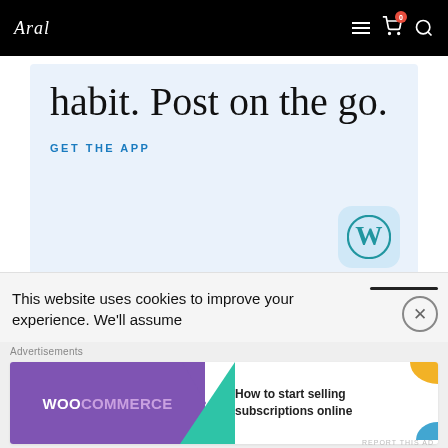Arel [logo] — navigation header with hamburger menu, cart (0), search icons
[Figure (screenshot): WordPress app advertisement showing 'habit. Post on the go.' text with GET THE APP link and WordPress logo]
REPORT THIS AD
Share this:
This website uses cookies to improve your experience. We'll assume
[Figure (screenshot): WooCommerce advertisement banner: 'How to start selling subscriptions online']
Advertisements
REPORT THIS AD